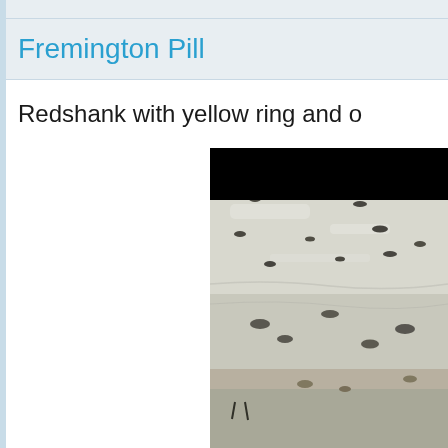Fremington Pill
Redshank with yellow ring and o
[Figure (photo): Photograph of birds (redshank) on a mudflat, showing multiple birds on wet sandy/muddy ground. The image has a black bar at the top and the photo shows a tidal estuary scene with birds scattered across the foreground and background.]